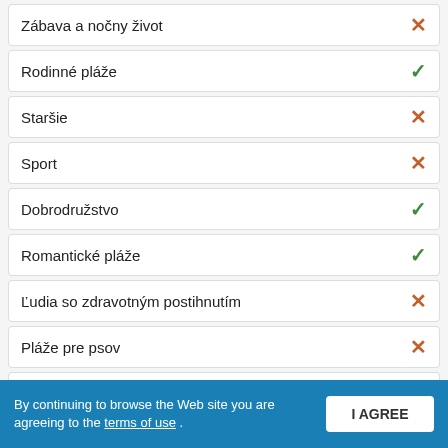Zábava a nočny život ✗
Rodinné pláže ✓
Staršie ✗
Sport ✗
Dobrodružstvo ✓
Romantické pláže ✓
Ľudia so zdravotným postihnutím ✗
Pláže pre psov ✗
Malé deti ✗
By continuing to browse the Web site you are agreeing to the terms of use . I AGREE